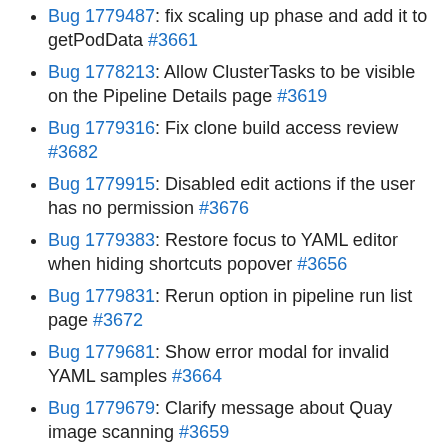Bug 1779487: fix scaling up phase and add it to getPodData #3661
Bug 1778213: Allow ClusterTasks to be visible on the Pipeline Details page #3619
Bug 1779316: Fix clone build access review #3682
Bug 1779915: Disabled edit actions if the user has no permission #3676
Bug 1779383: Restore focus to YAML editor when hiding shortcuts popover #3656
Bug 1779831: Rerun option in pipeline run list page #3672
Bug 1779681: Show error modal for invalid YAML samples #3664
Bug 1779679: Clarify message about Quay image scanning #3659
Bug 1777970: [release-4.3] fix(knative-icons): show icons for event sources #3613 #3613
Bug 1779492: Fixes for dashboard cards #3660
Bug 1779109: Egress legend color mismatch with